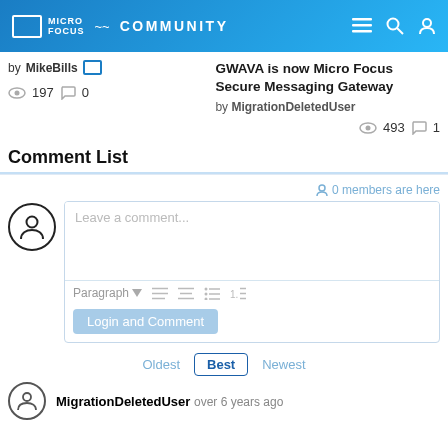MICRO FOCUS COMMUNITY
by MikeBills
197 views  0 comments
GWAVA is now Micro Focus Secure Messaging Gateway
by MigrationDeletedUser
493 views  1 comment
Comment List
0 members are here
Leave a comment...
Paragraph
Login and Comment
Oldest  Best  Newest
MigrationDeletedUser  over 6 years ago